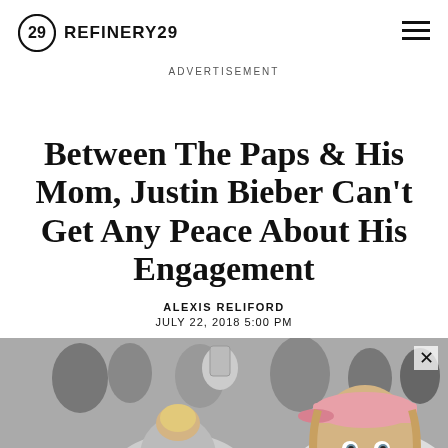REFINERY29
ADVERTISEMENT
Between The Paps & His Mom, Justin Bieber Can't Get Any Peace About His Engagement
ALEXIS RELIFORD
JULY 22, 2018 5:00 PM
[Figure (photo): Black and white photograph showing Justin Bieber wearing a backwards pink cap and a woman with blonde hair in a bun in the foreground, with a crowd in the background.]